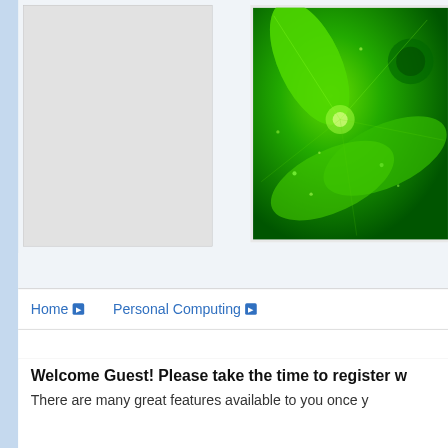[Figure (screenshot): Gray placeholder panel on left side of webpage]
[Figure (photo): Green fractal shamrock/clover abstract image with radial metallic green swirls and glowing dots]
Home ▶   Personal Computing ▶
Welcome Guest! Please take the time to register w
There are many great features available to you once y